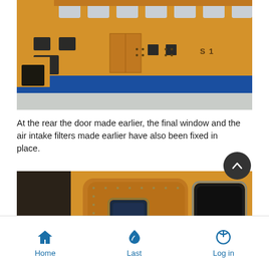[Figure (photo): Close-up photograph of an orange and blue model lifeboat showing the superstructure, windows, hatches, and hull details from above/side angle.]
At the rear the door made earlier, the final window and the air intake filters made earlier have also been fixed in place.
[Figure (photo): Close-up photograph of the rear section of an orange model lifeboat showing a door with porthole window and a large rectangular dark window.]
Home   Last   Log in